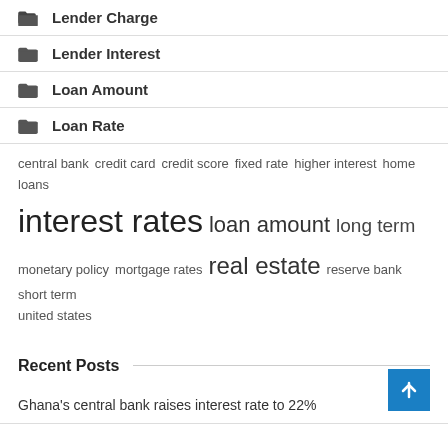Lender Charge
Lender Interest
Loan Amount
Loan Rate
central bank  credit card  credit score  fixed rate  higher interest  home loans  interest rates  loan amount  long term  monetary policy  mortgage rates  real estate  reserve bank  short term  united states
Recent Posts
Ghana's central bank raises interest rate to 22%